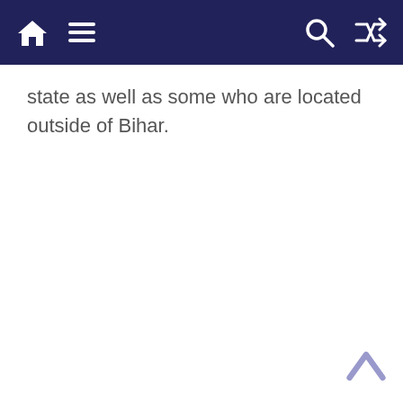[Navigation bar with home, menu, search, and shuffle icons]
state as well as some who are located outside of Bihar.